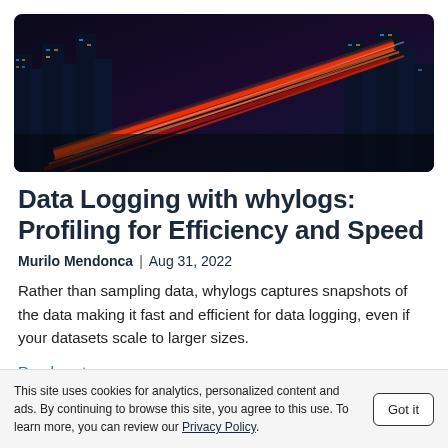[Figure (photo): Hero image of city at night with light trails from traffic, showing skyscrapers illuminated with red and blue light streaks]
Data Logging with whylogs: Profiling for Efficiency and Speed
Murilo Mendonca | Aug 31, 2022
Rather than sampling data, whylogs captures snapshots of the data making it fast and efficient for data logging, even if your datasets scale to larger sizes.
Read post
This site uses cookies for analytics, personalized content and ads. By continuing to browse this site, you agree to this use. To learn more, you can review our Privacy Policy.